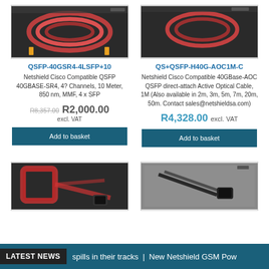[Figure (photo): Product photo of red fiber optic cables in black packaging - QSFP-40GSR4-4LSFP+10]
[Figure (photo): Product photo of red fiber optic cable in black packaging - QS+QSFP-H40G-AOC1M-C]
QSFP-40GSR4-4LSFP+10
QS+QSFP-H40G-AOC1M-C
Netshield Cisco Compatible QSFP 40GBASE-SR4, 4? Channels, 10 Meter, 850 nm, MMF, 4 x SFP
Netshield Cisco Compatible 40GBase-AOC QSFP direct-attach Active Optical Cable, 1M (Also available in 2m, 3m, 5m, 7m, 20m, 50m. Contact sales@netshieldsa.com)
R8,357.00  R2,000.00 excl. VAT
R4,328.00 excl. VAT
Add to basket
Add to basket
[Figure (photo): Product photo of red fiber optic patch cable with connectors]
[Figure (photo): Product photo of black cable/connector on metallic background]
LATEST NEWS | spills in their tracks | New Netshield GSM Pow